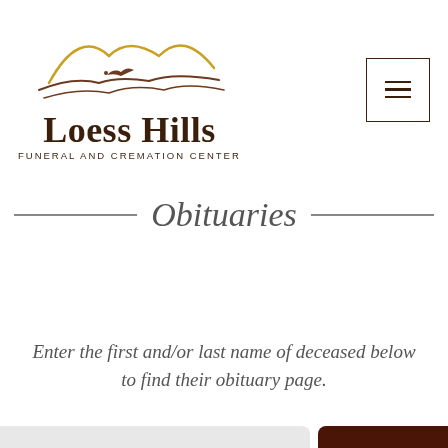[Figure (logo): Loess Hills Funeral and Cremation Center logo with stylized hills and bird silhouette in gold/brown tones]
Obituaries
Enter the first and/or last name of deceased below to find their obituary page.